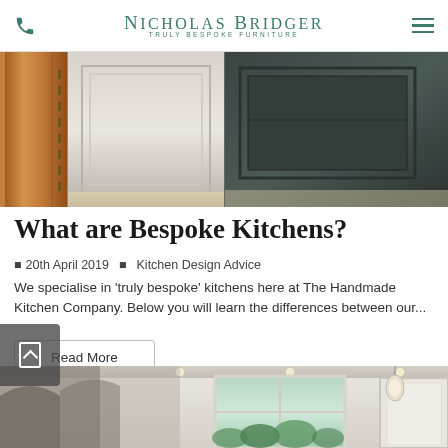Nicholas Bridger — Truly Bespoke Furniture
[Figure (photo): Collage of three kitchen cabinet close-ups: wooden drawer detail on the left, white painted cabinet panel in the middle, dark grey painted cabinet panel on the right.]
What are Bespoke Kitchens?
20th April 2019   Kitchen Design Advice
We specialise in 'truly bespoke' kitchens here at The Handmade Kitchen Company. Below you will learn the differences between our...
Read More
[Figure (photo): Interior of a bright kitchen with white cabinetry, a large window letting in natural light, and a pendant lamp.]